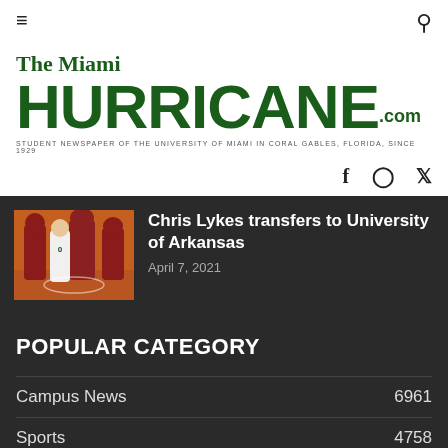The Miami Hurricane .com — STUDENT NEWSPAPER OF THE UNIVERSITY OF MIAMI IN CORAL GABLES, FLORIDA, SINCE 1929
[Figure (logo): The Miami Hurricane .com logo in dark green with tagline]
[Figure (infographic): Social media icons: Facebook, Instagram, Twitter]
[Figure (photo): Basketball players on court — Chris Lykes article thumbnail]
Chris Lykes transfers to University of Arkansas
April 7, 2021
POPULAR CATEGORY
Campus News   6961
Sports   4758